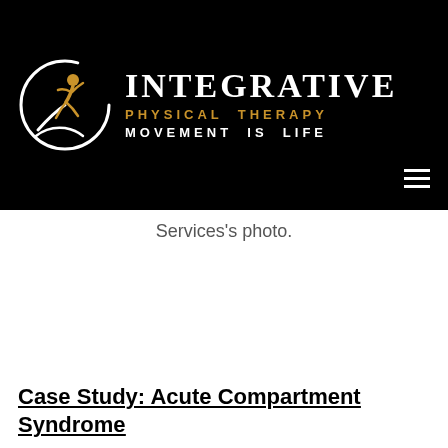[Figure (logo): Integrative Physical Therapy logo — running figure in gold and white on a black circular background, with text: INTEGRATIVE / PHYSICAL THERAPY / MOVEMENT IS LIFE]
Services's photo.
Case Study: Acute Compartment Syndrome